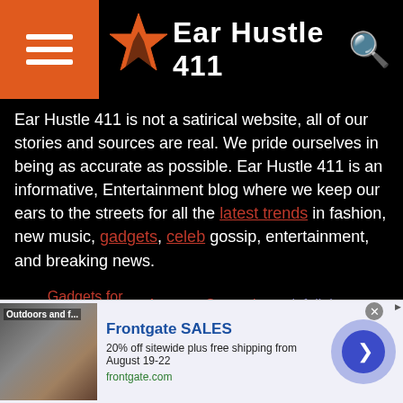Ear Hustle 411
Ear Hustle 411 is not a satirical website, all of our stories and sources are real. We pride ourselves in being as accurate as possible. Ear Hustle 411 is an informative, Entertainment blog where we keep our ears to the streets for all the latest trends in fashion, new music, gadgets, celeb gossip, entertainment, and breaking news.
Gadgets for windows 7   Attorney General   infolinks
[Figure (infographic): Row of social media icons: Facebook, Twitter, Pinterest, Instagram, Google+, YouTube, RSS]
[Figure (infographic): Advertisement banner: Frontgate SALES - 20% off sitewide plus free shipping from August 19-22, frontgate.com]